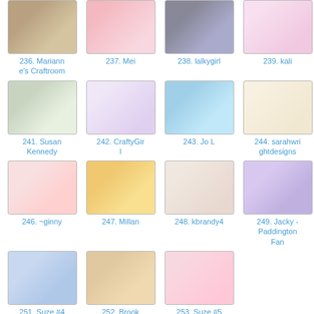[Figure (photo): Grid of crafting/card-making project thumbnails with numbered labels]
236. Marianne's Craftroom
237. Mei
238. lalkygirl
239. kali
241. Susan Kennedy
242. CraftyGirl
243. Jo L
244. sarahwrightdesigns
246. ~ginny
247. Millan
248. kbrandy4
249. Jacky - Paddington Fan
251. Suze #4
252. Brook
253. Suze #5